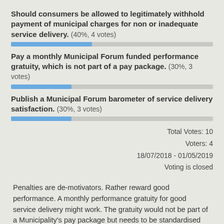[Figure (bar-chart): Poll results]
Total Votes: 10
Voters: 4
18/07/2018 - 01/05/2019
Voting is closed
Penalties are de-motivators. Rather reward good performance. A monthly performance gratuity for good service delivery might work. The gratuity would not be part of a Municipality's pay package but needs to be standardised across and from the resources of a and